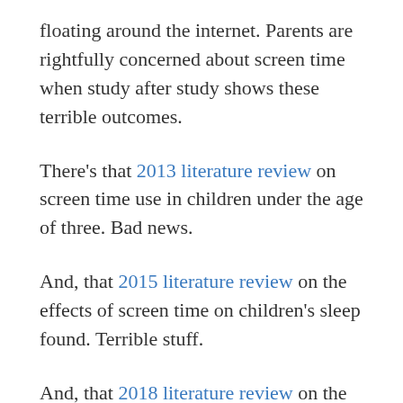floating around the internet. Parents are rightfully concerned about screen time when study after study shows these terrible outcomes.
There's that 2013 literature review on screen time use in children under the age of three. Bad news.
And, that 2015 literature review on the effects of screen time on children's sleep found. Terrible stuff.
And, that 2018 literature review on the physiological and psychological effects of